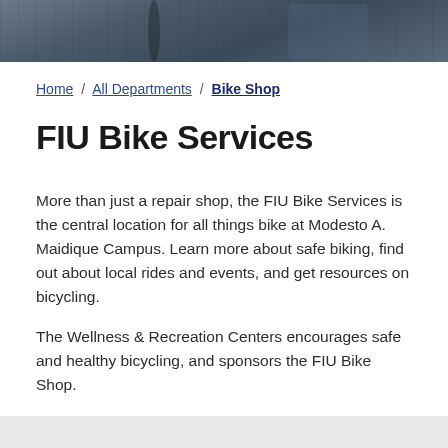[Figure (photo): Banner photo showing bicycle wheels and a cyclist in dark clothing]
Home / All Departments / Bike Shop
FIU Bike Services
More than just a repair shop, the FIU Bike Services is the central location for all things bike at Modesto A. Maidique Campus. Learn more about safe biking, find out about local rides and events, and get resources on bicycling.
The Wellness & Recreation Centers encourages safe and healthy bicycling, and sponsors the FIU Bike Shop.